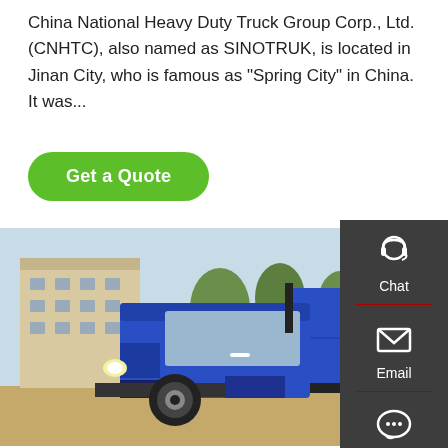China National Heavy Duty Truck Group Corp., Ltd. (CNHTC), also named as SINOTRUK, is located in Jinan City, who is famous as "Spring City" in China. It was...
[Figure (other): Green 'Get a Quote' button with rounded corners]
[Figure (photo): Side view of a blue SINOTRUK heavy-duty dump truck parked on a dirt surface with trees and a building in the background]
[Figure (infographic): Dark sidebar with Chat (headset icon), Email (envelope icon), and Contact (speech bubble icon) options, and a green TOP button at the bottom right]